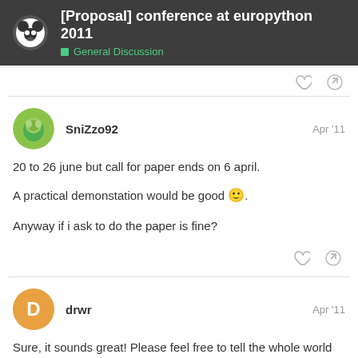[Proposal] conference at europython 2011 — General Discussion
SniZzo92 — Apr '11
20 to 26 june but call for paper ends on 6 april.
A practical demonstation would be good 🙂.
Anyway if i ask to do the paper is fine?
drwr — Apr '11
Sure, it sounds great! Please feel free to tell the whole world about Panda. 🙂
1 / 11